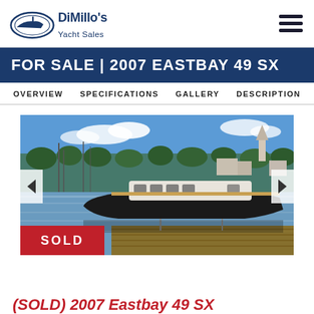DiMillo's Yacht Sales
FOR SALE | 2007 EASTBAY 49 SX
OVERVIEW SPECIFICATIONS GALLERY DESCRIPTION
[Figure (photo): A large black-hulled motor yacht docked at a marina. The boat has a white superstructure and is moored at a wooden dock. Background shows a harbor town with trees, buildings, and a church steeple under a blue sky. A red SOLD badge is overlaid in the lower left corner.]
(SOLD) 2007 Eastbay 49 SX